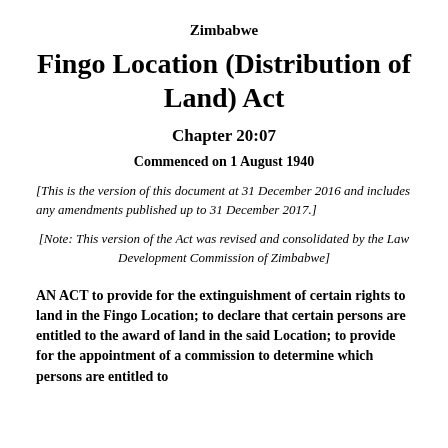Zimbabwe
Fingo Location (Distribution of Land) Act
Chapter 20:07
Commenced on 1 August 1940
[This is the version of this document at 31 December 2016 and includes any amendments published up to 31 December 2017.]
[Note: This version of the Act was revised and consolidated by the Law Development Commission of Zimbabwe]
AN ACT to provide for the extinguishment of certain rights to land in the Fingo Location; to declare that certain persons are entitled to the award of land in the said Location; to provide for the appointment of a commission to determine which persons are entitled to